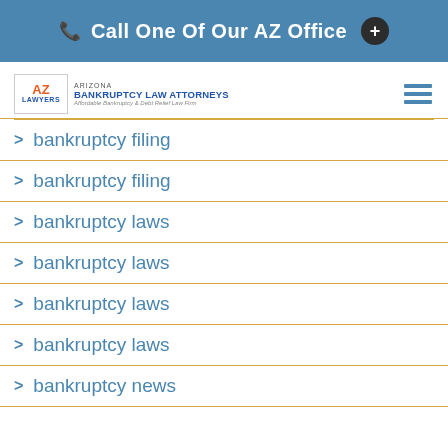Call One Of Our AZ Office
[Figure (logo): Arizona Bankruptcy Law Attorneys logo with AZ Lawyers icon, text reading ARIZONA BANKRUPTCY LAW ATTORNEYS, Affordable Bankruptcy & Debt Relief Law Firm]
bankruptcy filing
bankruptcy filing
bankruptcy laws
bankruptcy laws
bankruptcy laws
bankruptcy laws
bankruptcy news